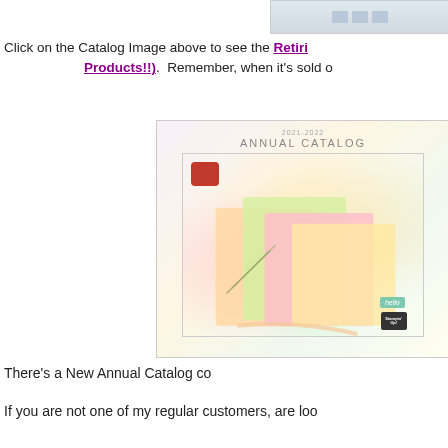[Figure (photo): Partial view of a catalog image at the top of the page]
Click on the Catalog Image above to see the Retiring Products!!).  Remember, when it's sold o
[Figure (photo): 2021-2022 Annual Catalog cover featuring floral watercolor cards, a red wax seal, and the Stampin' Up! logo]
There's a New Annual Catalog co
If you are not one of my regular customers, are loo